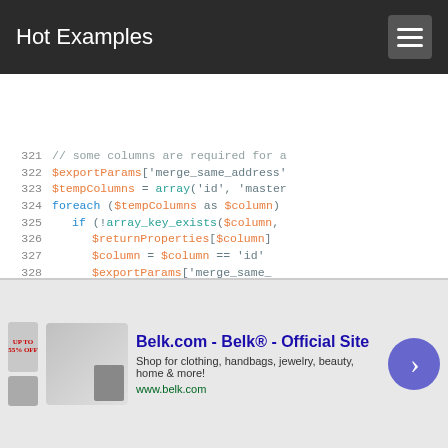Hot Examples
[Figure (screenshot): Code viewer showing PHP code lines 321-336 with syntax highlighting. Lines include $exportParams, $tempColumns, foreach, if, $returnProperties, $column, $query, CRM_Core_DAO::executeQuery calls.]
[Figure (other): Advertisement banner for Belk.com - Belk® Official Site. Shop for clothing, handbags, jewelry, beauty, home & more! www.belk.com]